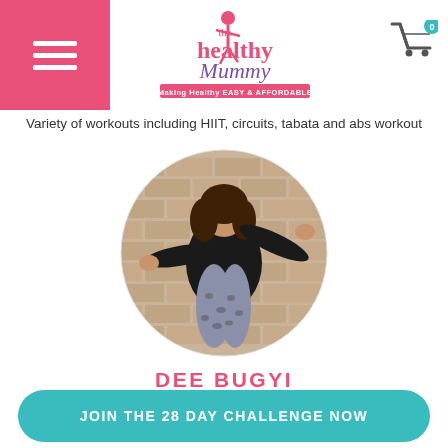The Healthy Mummy — Making Healthy Easy & Affordable
Variety of workouts including HIIT, circuits, tabata and abs workout
[Figure (photo): Circular profile photo of Dee Bugyi, a woman with long brown hair wearing a black long-sleeve top and leopard-print leggings, posing energetically in front of a brick wall]
DEE BUGYI
Dance Fit
Combination of dance and fitness moves to great music
So much fun you don't even know you're doing exercise
JOIN THE 28 DAY CHALLENGE NOW